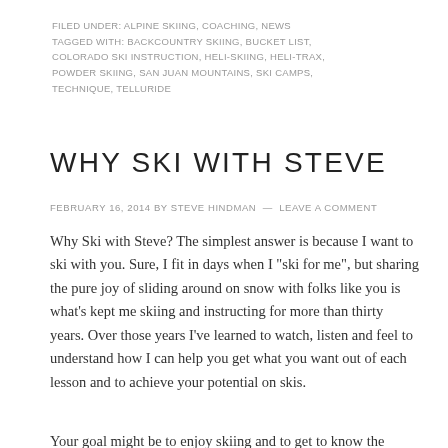FILED UNDER: ALPINE SKIING, COACHING, NEWS
TAGGED WITH: BACKCOUNTRY SKIING, BUCKET LIST, COLORADO SKI INSTRUCTION, HELI-SKIING, HELI-TRAX, POWDER SKIING, SAN JUAN MOUNTAINS, SKI CAMPS, TECHNIQUE, TELLURIDE
WHY SKI WITH STEVE
FEBRUARY 16, 2014 BY STEVE HINDMAN — LEAVE A COMMENT
Why Ski with Steve? The simplest answer is because I want to ski with you. Sure, I fit in days when I "ski for me", but sharing the pure joy of sliding around on snow with folks like you is what's kept me skiing and instructing for more than thirty years. Over those years I've learned to watch, listen and feel to understand how I can help you get what you want out of each lesson and to achieve your potential on skis.
Your goal might be to enjoy skiing and to get to know the